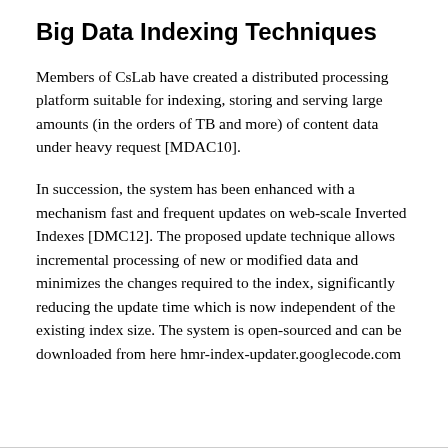Big Data Indexing Techniques
Members of CsLab have created a distributed processing platform suitable for indexing, storing and serving large amounts (in the orders of TB and more) of content data under heavy request [MDAC10].
In succession, the system has been enhanced with a mechanism fast and frequent updates on web-scale Inverted Indexes [DMC12]. The proposed update technique allows incremental processing of new or modified data and minimizes the changes required to the index, significantly reducing the update time which is now independent of the existing index size. The system is open-sourced and can be downloaded from here hmr-index-updater.googlecode.com